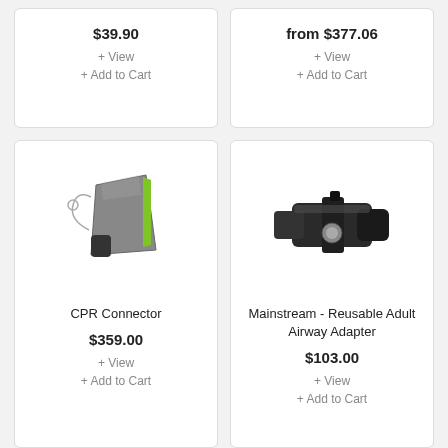$39.90
+ View
+ Add to Cart
from $377.06
+ View
+ Add to Cart
[Figure (photo): CPR Connector device - grey triangular device with green stripe and lanyard]
CPR Connector
$359.00
+ View
+ Add to Cart
[Figure (photo): Mainstream - Reusable Adult Airway Adapter - black cylindrical medical adapter component]
Mainstream - Reusable Adult Airway Adapter
$103.00
+ View
+ Add to Cart